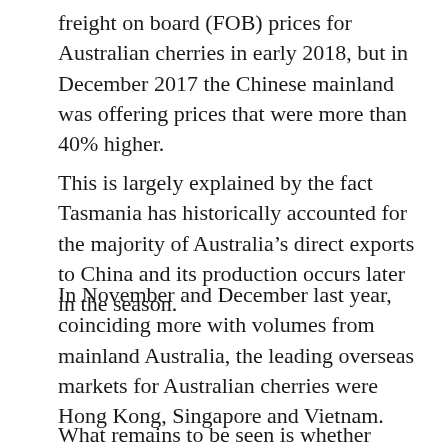freight on board (FOB) prices for Australian cherries in early 2018, but in December 2017 the Chinese mainland was offering prices that were more than 40% higher.
This is largely explained by the fact Tasmania has historically accounted for the majority of Australia's direct exports to China and its production occurs later in the season.
In November and December last year, coinciding more with volumes from mainland Australia, the leading overseas markets for Australian cherries were Hong Kong, Singapore and Vietnam.
What remains to be seen is whether